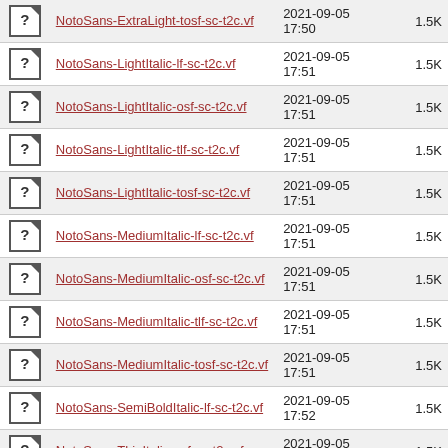|  | Name | Date | Size |
| --- | --- | --- | --- |
| [?] | NotoSans-ExtraLight-tosf-sc-t2c.vf | 2021-09-05 17:50 | 1.5K |
| [?] | NotoSans-LightItalic-lf-sc-t2c.vf | 2021-09-05 17:51 | 1.5K |
| [?] | NotoSans-LightItalic-osf-sc-t2c.vf | 2021-09-05 17:51 | 1.5K |
| [?] | NotoSans-LightItalic-tlf-sc-t2c.vf | 2021-09-05 17:51 | 1.5K |
| [?] | NotoSans-LightItalic-tosf-sc-t2c.vf | 2021-09-05 17:51 | 1.5K |
| [?] | NotoSans-MediumItalic-lf-sc-t2c.vf | 2021-09-05 17:51 | 1.5K |
| [?] | NotoSans-MediumItalic-osf-sc-t2c.vf | 2021-09-05 17:51 | 1.5K |
| [?] | NotoSans-MediumItalic-tlf-sc-t2c.vf | 2021-09-05 17:51 | 1.5K |
| [?] | NotoSans-MediumItalic-tosf-sc-t2c.vf | 2021-09-05 17:51 | 1.5K |
| [?] | NotoSans-SemiBoldItalic-lf-sc-t2c.vf | 2021-09-05 17:52 | 1.5K |
| [?] | NotoSans-ThinItalic-osf-sc-t2c.vf | 2021-09-05 17:52 | 1.5K |